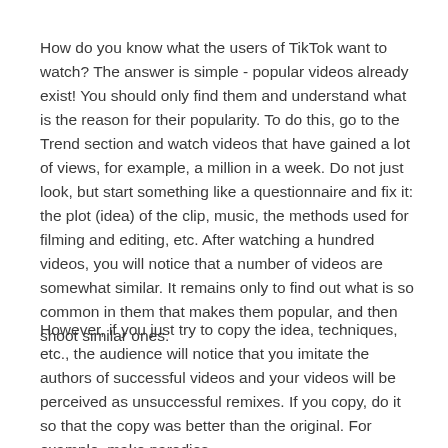How do you know what the users of TikTok want to watch? The answer is simple - popular videos already exist! You should only find them and understand what is the reason for their popularity. To do this, go to the Trend section and watch videos that have gained a lot of views, for example, a million in a week. Do not just look, but start something like a questionnaire and fix it: the plot (idea) of the clip, music, the methods used for filming and editing, etc. After watching a hundred videos, you will notice that a number of videos are somewhat similar. It remains only to find out what is so common in them that makes them popular, and then shoot similar ones.
However, if you just try to copy the idea, techniques, etc., the audience will notice that you imitate the authors of successful videos and your videos will be perceived as unsuccessful remixes. If you copy, do it so that the copy was better than the original. For example, make parodies